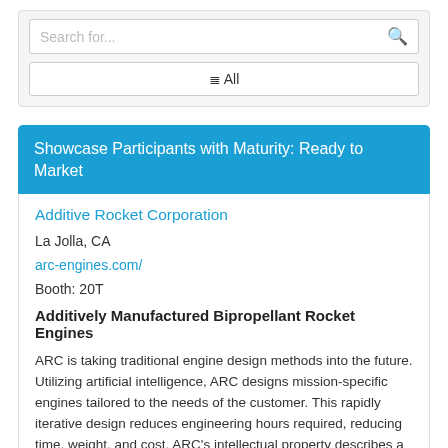[Figure (screenshot): Search bar UI element with placeholder text 'Search for...' and a magnifying glass icon on the right, and below it an 'All' filter button with a list icon.]
Showcase Participants with Maturity: Ready to Market
Additive Rocket Corporation
La Jolla, CA
arc-engines.com/
Booth: 20T
Additively Manufactured Bipropellant Rocket Engines
ARC is taking traditional engine design methods into the future. Utilizing artificial intelligence, ARC designs mission-specific engines tailored to the needs of the customer. This rapidly iterative design reduces engineering hours required, reducing time, weight, and cost. ARC's intellectual property describes a biomimetic fuel injection mechanism that reduces pressure loss during fluid flow and improves combustion